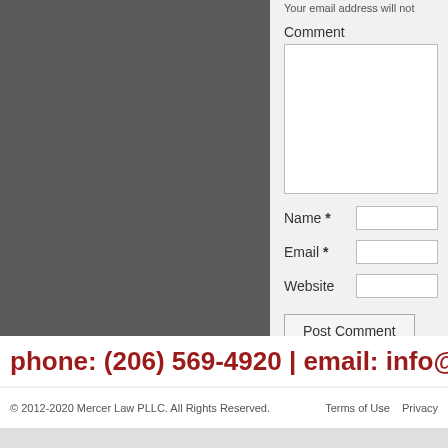[Figure (photo): Dark gray rectangle representing a cropped image or placeholder photo on the left side of the page]
Your email address will not
Comment
Name *
Email *
Website
Post Comment
phone: (206) 569-4920 | email: info@me
© 2012-2020 Mercer Law PLLC. All Rights Reserved.    Terms of Use    Privacy